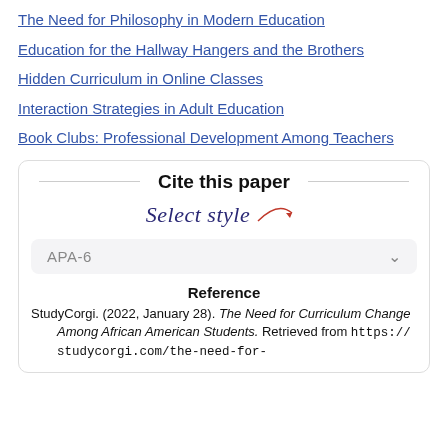The Need for Philosophy in Modern Education
Education for the Hallway Hangers and the Brothers
Hidden Curriculum in Online Classes
Interaction Strategies in Adult Education
Book Clubs: Professional Development Among Teachers
Cite this paper
Select style
APA-6
Reference
StudyCorgi. (2022, January 28). The Need for Curriculum Change Among African American Students. Retrieved from https://studycorgi.com/the-need-for-